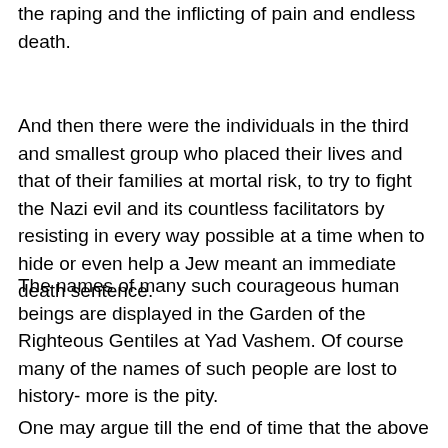the raping and the inflicting of pain and endless death.
And then there were the individuals in the third and smallest group who placed their lives and that of their families at mortal risk, to try to fight the Nazi evil and its countless facilitators by resisting in every way possible at a time when to hide or even help a Jew meant an immediate death sentence.
The names of many such courageous human beings are displayed in the Garden of the Righteous Gentiles at Yad Vashem. Of course many of the names of such people are lost to history- more is the pity.
One may argue till the end of time that the above